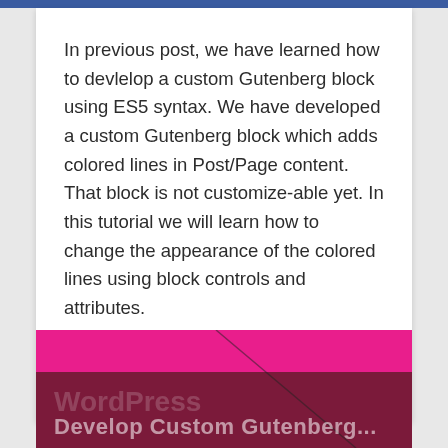In previous post, we have learned how to devlelop a custom Gutenberg block using ES5 syntax. We have developed a custom Gutenberg block which adds colored lines in Post/Page content. That block is not customize-able yet. In this tutorial we will learn how to change the appearance of the colored lines using block controls and attributes.
February 18, 2020  Junaid Hassan  Tech, Wordpress  Leave a Comment
[Figure (screenshot): Partial view of next article card with pink and dark maroon background, showing partial title 'Develop Custom Gutenberg...' and WordPress watermark text]